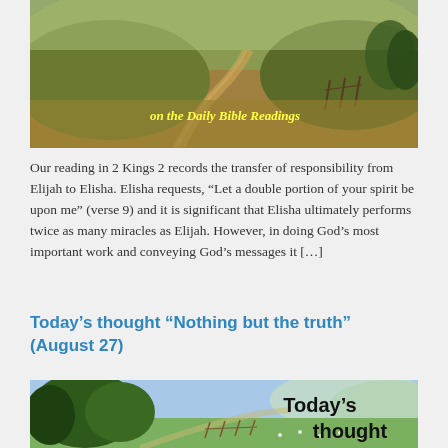[Figure (photo): Countryside path winding through golden grassy hills with text overlay 'on the Daily Bible Readings' in yellow cursive script]
Our reading in 2 Kings 2 records the transfer of responsibility from Elijah to Elisha. Elisha requests, “Let a double portion of your spirit be upon me” (verse 9) and it is significant that Elisha ultimately performs twice as many miracles as Elijah. However, in doing God’s most important work and conveying God’s messages it […]
Today’s thought “Nothing but the truth” (August 27)
[Figure (photo): Country lane bordered by leafy trees on left and green meadow on right, with text overlay 'Today’s thought' in bold black font]